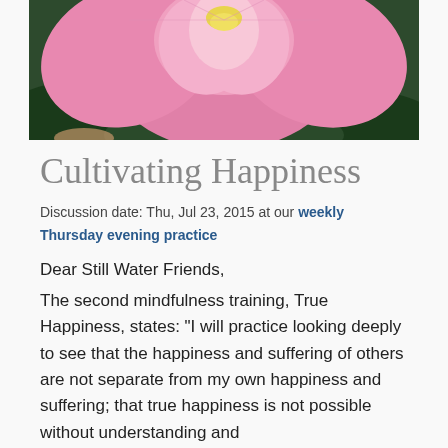[Figure (photo): Close-up photograph of a pink lotus flower with large petals and green leaves in the background]
Cultivating Happiness
Discussion date: Thu, Jul 23, 2015 at our weekly Thursday evening practice
Dear Still Water Friends,
The second mindfulness training, True Happiness, states: "I will practice looking deeply to see that the happiness and suffering of others are not separate from my own happiness and suffering; that true happiness is not possible without understanding and